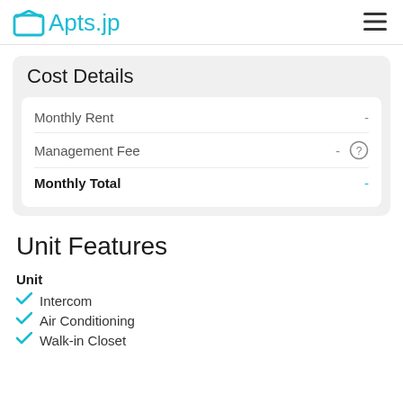Apts.jp
Cost Details
|  |  |
| --- | --- |
| Monthly Rent | - |
| Management Fee | - (?) |
| Monthly Total | - |
Unit Features
Unit
Intercom
Air Conditioning
Walk-in Closet